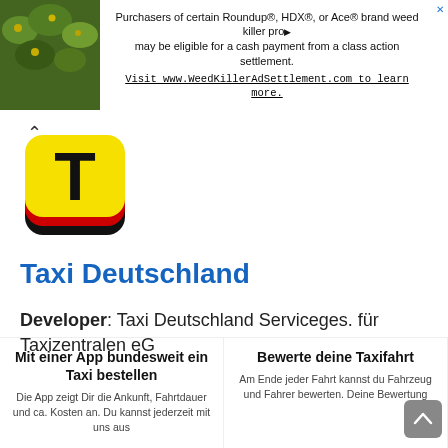[Figure (screenshot): Advertisement banner: plant/foliage photo on left, text about Roundup/HDX/Ace weed killer class action settlement, with WeedKillerAdSettlement.com URL]
[Figure (logo): Taxi Deutschland app icon: yellow rounded square with black T, stacked with black/red/yellow stripes at bottom]
Taxi Deutschland
Developer: Taxi Deutschland Serviceges. für Taxizentralen eG
Mit einer App bundesweit ein Taxi bestellen
Die App zeigt Dir die Ankunft, Fahrtdauer und ca. Kosten an. Du kannst jederzeit mit uns aus
Bewerte deine Taxifahrt
Am Ende jeder Fahrt kannst du Fahrzeug und Fahrer bewerten. Deine Bewertung